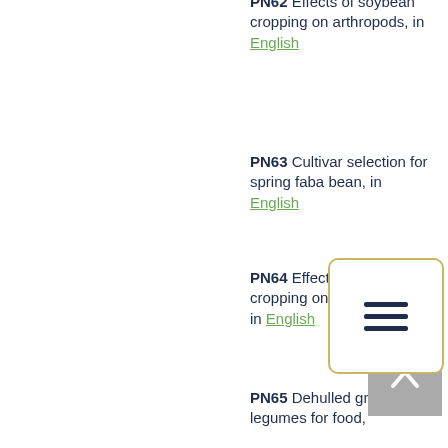PN62 Effects of soybean cropping on arthropods, in English
[Figure (other): Navigation menu icon with three horizontal lines inside a rounded rectangle border]
PN63 Cultivar selection for spring faba bean, in English
PN64 Effect of soybean cropping on floral diversity, in English
[Figure (other): Back to top button with upward chevron arrow on grey background]
PN65 Dehulled grain legumes for food,